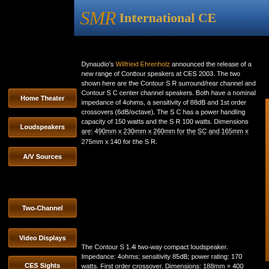SMR International CES
Home Theater
Loudspeakers
A/V Sources
Two-Channel
Video Displays
CES Sights
Dynaudio's Wilfried Ehrenholz announced the release of a new range of Contour speakers at CES 2003. The two shown here are the Contour S R surround/rear channel and Contour S C center channel speakers. Both have a nominal impedance of 4ohms, a sensitivity of 88dB and 1st order crossovers (6dB/octave). The S C has a power handling capacity of 150 watts and the S R 100 watts. Dimensions are: 490mm x 230mm x 260mm for the SC and 165mm x 275mm x 140 for the S R.
The Contour S 1.4 two-way compact loudspeaker. Impedance: 4ohms; sensitivity 85dB; power rating: 170 watts. First order crossover. Dimensions: 188mm x 400